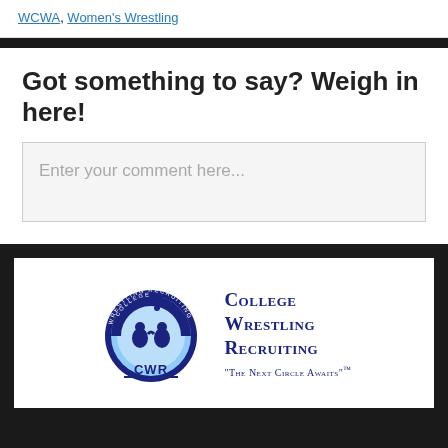WCWA, Women's Wrestling
Got something to say? Weigh in here!
Enter your comment here...
[Figure (logo): College Wrestling Recruiting (CWR) logo with circular emblem showing wrestlers and a graduation cap, alongside text 'College Wrestling Recruiting' and tagline 'The Next Circle Awaits™']